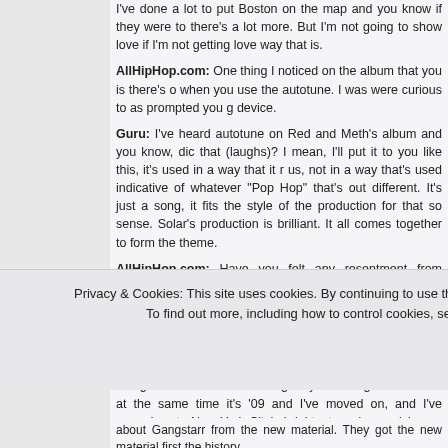I've done a lot to put Boston on the map and you know if they were to there's a lot more. But I'm not going to show love if I'm not getting love way that is.
AllHipHop.com: One thing I noticed on the album that you is there's o when you use the autotune. I was were curious to as prompted you device.
Guru: I've heard autotune on Red and Meth's album and you know, dic that (laughs)? I mean, I'll put it to you like this, it's used in a way that it us, not in a way that's used indicative of whatever "Pop Hop" that's out different. It's just a song, it fits the style of the production for that so sense. Solar's production is brilliant. It all comes together to form the theme.
AllHipHop.com: Have you felt any resentment from people in the industr
Guru: In the industry yes because a lot of them are from that era where talk about Gangstarr, they just want me to do what I used to be doing c like I said, Gangstarr was great, it was great till that time and it repr important things. Gangstarr is me. It runs through my veins. I got it tatto But at the same time it's '09 and I've moved on, and I've moved on to New York City's brightest producer, visionary film director …who connec
about Gangstarr from the new material. They got the new material first the history.